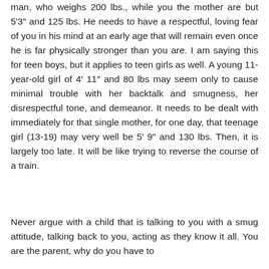man, who weighs 200 lbs., while you the mother are but 5'3" and 125 lbs. He needs to have a respectful, loving fear of you in his mind at an early age that will remain even once he is far physically stronger than you are. I am saying this for teen boys, but it applies to teen girls as well. A young 11-year-old girl of 4' 11" and 80 lbs may seem only to cause minimal trouble with her backtalk and smugness, her disrespectful tone, and demeanor. It needs to be dealt with immediately for that single mother, for one day, that teenage girl (13-19) may very well be 5' 9" and 130 lbs. Then, it is largely too late. It will be like trying to reverse the course of a train.
Never argue with a child that is talking to you with a smug attitude, talking back to you, acting as they know it all. You are the parent, why do you have to